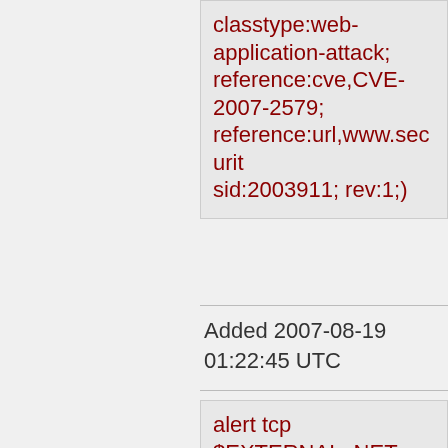classtype:web-application-attack; reference:cve,CVE-2007-2579; reference:url,www.securit sid:2003911; rev:1;)
Added 2007-08-19 01:22:45 UTC
alert tcp $EXTERNAL_NET any -> $HTTP_SERVERS $HTTP_PORTS (msg:"BLEEDING-EDGE WEB ACP3 XSS Attempt -- index.php form[message]";